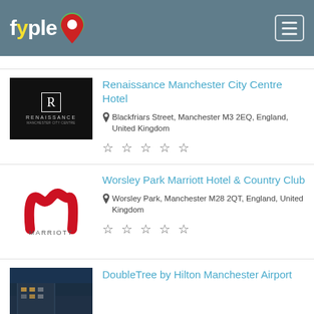fyple
Renaissance Manchester City Centre Hotel
Blackfriars Street, Manchester M3 2EQ, England, United Kingdom
Worsley Park Marriott Hotel & Country Club
Worsley Park, Manchester M28 2QT, England, United Kingdom
DoubleTree by Hilton Manchester Airport